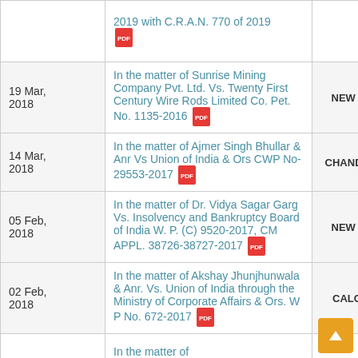| Date | Case | Location |
| --- | --- | --- |
|  | 2019 with C.R.A.N. 770 of 2019 [PDF] |  |
| 19 Mar, 2018 | In the matter of Sunrise Mining Company Pvt. Ltd. Vs. Twenty First Century Wire Rods Limited Co. Pet. No. 1135-2016 [PDF] | NEW DELHI |
| 14 Mar, 2018 | In the matter of Ajmer Singh Bhullar & Anr Vs Union of India & Ors CWP No-29553-2017 [PDF] | CHANDIGARH |
| 05 Feb, 2018 | In the matter of Dr. Vidya Sagar Garg Vs. Insolvency and Bankruptcy Board of India W. P. (C) 9520-2017, CM APPL. 38726-38727-2017 [PDF] | NEW DELHI |
| 02 Feb, 2018 | In the matter of Akshay Jhunjhunwala & Anr. Vs. Union of India through the Ministry of Corporate Affairs & Ors. W P No. 672-2017 [PDF] | CALCUTTA |
|  | In the matter of... |  |